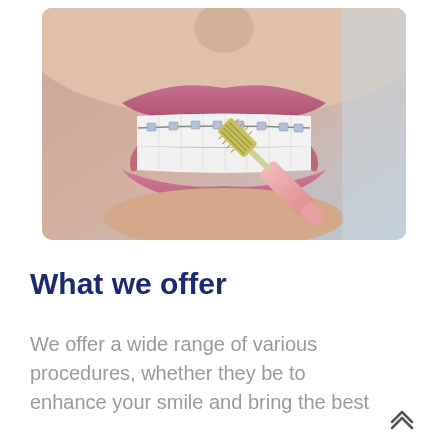[Figure (photo): Close-up photograph of a person smiling with dental braces on upper teeth, using a pink interdental brush to clean between braces]
What we offer
We offer a wide range of various procedures, whether they be to enhance your smile and bring the best